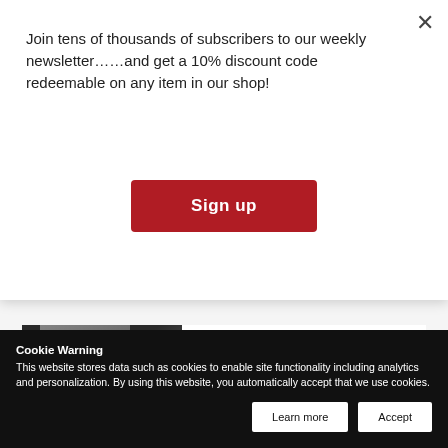Join tens of thousands of subscribers to our weekly newsletter……and get a 10% discount code redeemable on any item in our shop!
Sign up
[Figure (screenshot): Video thumbnail with play button, dark background, partial view of person]
[Figure (screenshot): Video thumbnail with two people at panel discussion, play button overlay]
The Business Year: Mexico 2022 Launch Event - Panel 2
Cookie Warning
This website stores data such as cookies to enable site functionality including analytics and personalization. By using this website, you automatically accept that we use cookies.
Learn more
Accept
The Business Year: Mexico 2022 Launch Event - Presentation